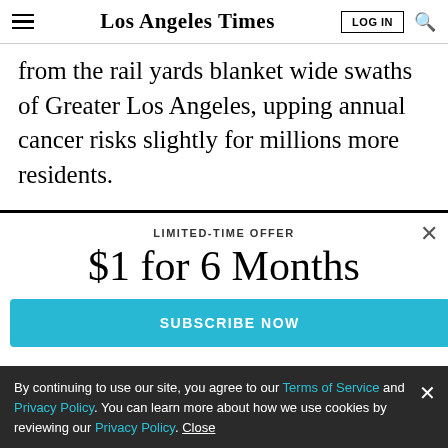Los Angeles Times
from the rail yards blanket wide swaths of Greater Los Angeles, upping annual cancer risks slightly for millions more residents.
LIMITED-TIME OFFER
$1 for 6 Months
SUBSCRIBE NOW
By continuing to use our site, you agree to our Terms of Service and Privacy Policy. You can learn more about how we use cookies by reviewing our Privacy Policy. Close